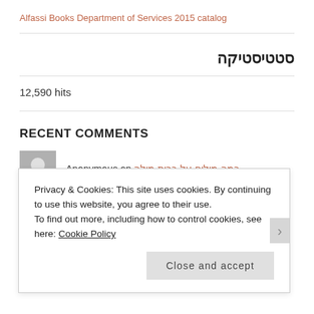Alfassi Books Department of Services 2015 catalog
סטטיסטיקה
12,590 hits
RECENT COMMENTS
Anonymous on כמה מילים על ברית מילה
Privacy & Cookies: This site uses cookies. By continuing to use this website, you agree to their use.
To find out more, including how to control cookies, see here: Cookie Policy
Close and accept